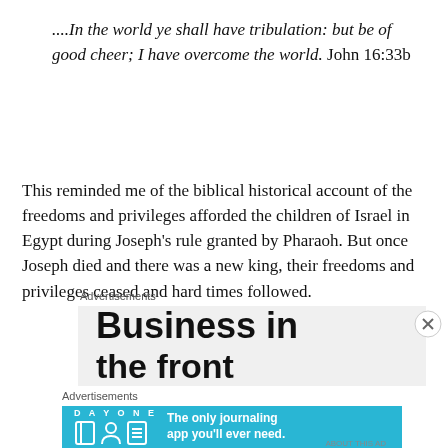....In the world ye shall have tribulation: but be of good cheer; I have overcome the world. John 16:33b
This reminded me of the biblical historical account of the freedoms and privileges afforded the children of Israel in Egypt during Joseph's rule granted by Pharaoh. But once Joseph died and there was a new king, their freedoms and privileges ceased and hard times followed.
Advertisements
[Figure (other): Advertisement banner showing 'Business in the front' text in bold black on light gray background]
Advertisements
[Figure (other): Day One journaling app advertisement on blue background with icons and text: The only journaling app you'll ever need.]